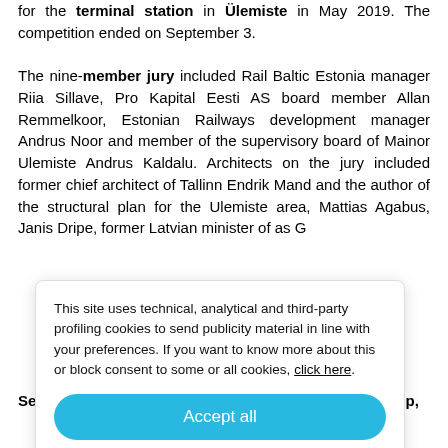for the terminal station in Ülemiste in May 2019. The competition ended on September 3.
The nine-member jury included Rail Baltic Estonia manager Riia Sillave, Pro Kapital Eesti AS board member Allan Remmelkoor, Estonian Railways development manager Andrus Noor and member of the supervisory board of Mainor Ulemiste Andrus Kaldalu. Architects on the jury included former chief architect of Tallinn Endrik Mand and the author of the structural plan for the Ulemiste area, Mattias Agabus, Janis Dripe, former Latvian minister of... as G...
This site uses technical, analytical and third-party profiling cookies to send publicity material in line with your preferences. If you want to know more about this or block consent to some or all cookies, click here.
Accept all
Only technically cookies    More options
C... ts (Z... ea R... e S... a, Serra Pakalin, Yuzhi Xu, Anthony Awanis, Hendrik Rupp,